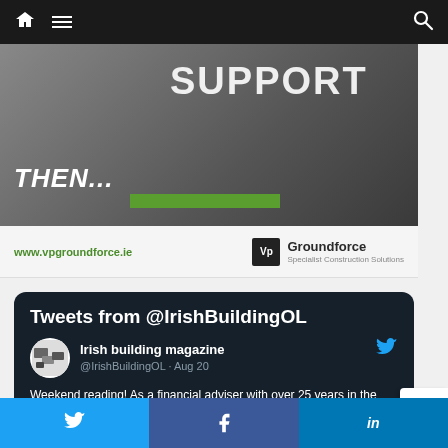Navigation bar with home, menu, and search icons
[Figure (photo): Advertisement banner for VP Groundforce showing stone/construction imagery with large 'SUPPORT' text and 'THEN...' text, green bar accent, and www.vpgroundforce.ie URL with Groundforce Specialist Construction Solutions logo]
Tweets from @IrishBuildingOL
Irish building magazine @IrishBuildingOL · Aug 20
Weekend reading! As a financial adviser with over 25 years in the industry, Susan O'Mara at Milestone Advisory thinks about clients' futures a lot. Read about the best gifts you can give your 'Future self':
[Figure (screenshot): reCAPTCHA badge partially visible on right edge]
Social share buttons: Twitter, Facebook, LinkedIn